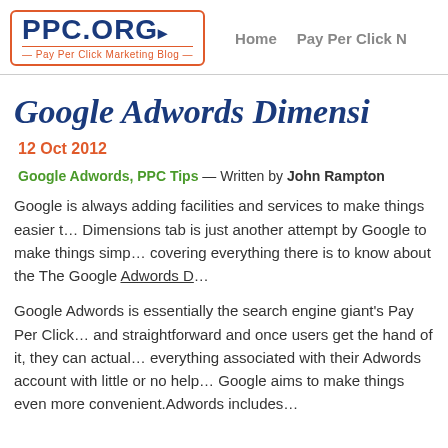PPC.ORG Pay Per Click Marketing Blog — Home  Pay Per Click
Google Adwords Dimensi…
12 Oct 2012
Google Adwords, PPC Tips — Written by John Rampton
Google is always adding facilities and services to make things easier. The Dimensions tab is just another attempt by Google to make things simpler, covering everything there is to know about the The Google Adwords D…
Google Adwords is essentially the search engine giant's Pay Per Click… and straightforward and once users get the hand of it, they can actually… everything associated with their Adwords account with little or no help… Google aims to make things even more convenient.Adwords includes…